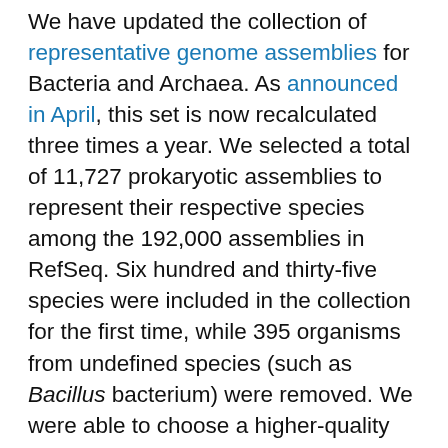We have updated the collection of representative genome assemblies for Bacteria and Archaea. As announced in April, this set is now recalculated three times a year. We selected a total of 11,727 prokaryotic assemblies to represent their respective species among the 192,000 assemblies in RefSeq. Six hundred and thirty-five species were included in the collection for the first time, while 395 organisms from undefined species (such as Bacillus bacterium) were removed. We were able to choose a higher-quality representative than in the previous set for 18% of Bacterial and Archaeal species due to improvements in the logic of the selection that is now based on the assembly length, number of pseudo CDSs called in the PGAP annotation, number of scaffolds, whether Gene IDs are available in the Gene database for the assembly that is currently representative, and type strain status. You can see the